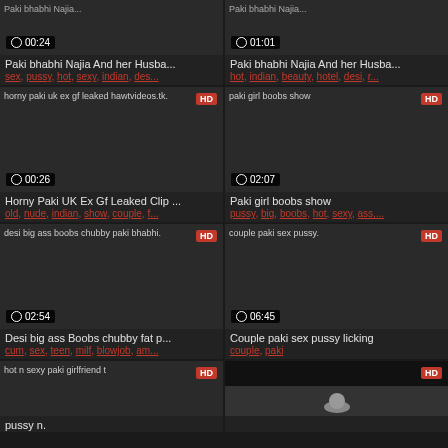[Figure (screenshot): Video thumbnail grid showing adult video website with 6 visible video cards in 2-column layout]
Paki bhabhi Najia And her Husba... | 00:24 | sex, pussy, hot, sexy, indian, des...
Paki bhabhi Najia And her Husba... | 01:01 | hot, indian, beauty, hotel, desi, r...
Horny Paki UK Ex Gf Leaked Clip ... | 00:26 | old, nude, indian, show, couple, f...
Paki girl boobs show | 02:07 | pussy, big, boobs, hot, sexy, ass,...
Desi big ass Boobs chubby fat p... | 02:54 | cum, sex, teen, milf, blowjob, am...
Couple paki sex pussy licking | 06:45 | couple, paki
hot n sexy paki girlfriend t... HD | pussy n.
HD (bottom right thumbnail)